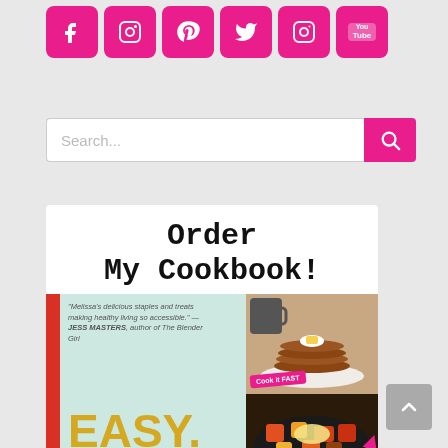[Figure (other): Row of five pink/magenta social media icon buttons: Facebook (f), Pinterest (P), Twitter bird, Instagram camera, YouTube logo]
[Figure (screenshot): Search bar with placeholder text 'Search...' and a pink search button with magnifying glass icon]
[Figure (photo): Cookbook advertisement panel with title 'Order My Cookbook!' in typewriter font, and a book cover showing 'EASY. WHOLE.' text with food photography]
[Figure (other): Gray scroll-to-top button with upward chevron arrow in bottom right corner]